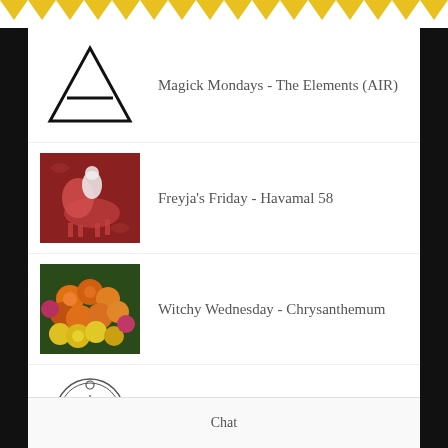[Figure (illustration): Yellow zigzag/chevron decorative border at the top of the page]
Magick Mondays - The Elements (AIR)
Freyja's Friday - Havamal 58
Witchy Wednesday - Chrysanthemum
Magick Mondays - Orfax
Chat